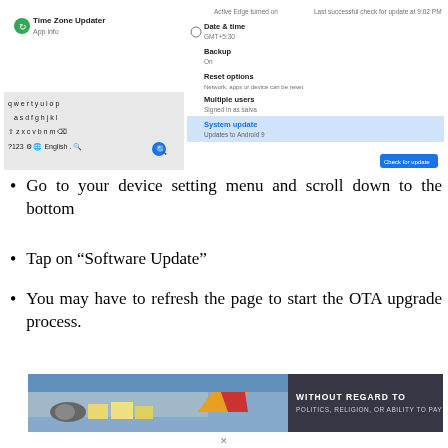[Figure (screenshot): Android device settings screenshot showing System update menu with keyboard visible, and a 'Check for update' button. Shows Time Zone Updater app info, Date & time (GMT+5:30), Backup (On), Reset options, Multiple users, and System update (Updates to Android 9) highlighted in blue. Right side shows 'Last successful check for update at 9:02 PM'.]
Go to your device setting menu and scroll down to the bottom
Tap on “Software Update”
You may have to refresh the page to start the OTA upgrade process.
[Figure (photo): Advertisement banner showing an airplane being loaded with cargo. Dark overlay on right side reads 'WITHOUT REGARD TO POLITICS, RELIGION, OR ABILITY TO PAY'.]